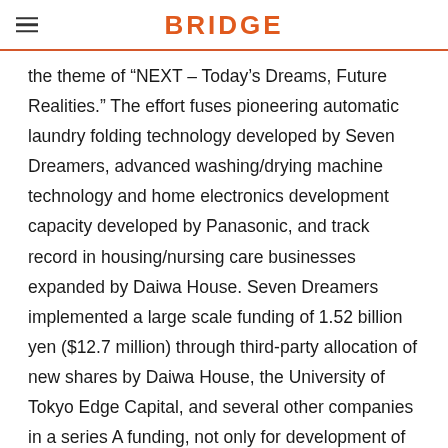BRIDGE
the theme of “NEXT – Today’s Dreams, Future Realities.” The effort fuses pioneering automatic laundry folding technology developed by Seven Dreamers, advanced washing/drying machine technology and home electronics development capacity developed by Panasonic, and track record in housing/nursing care businesses expanded by Daiwa House. Seven Dreamers implemented a large scale funding of 1.52 billion yen ($12.7 million) through third-party allocation of new shares by Daiwa House, the University of Tokyo Edge Capital, and several other companies in a series A funding, not only for development of revolutionary technology but also for expansion of business globally. The last said but not for now but for the b...